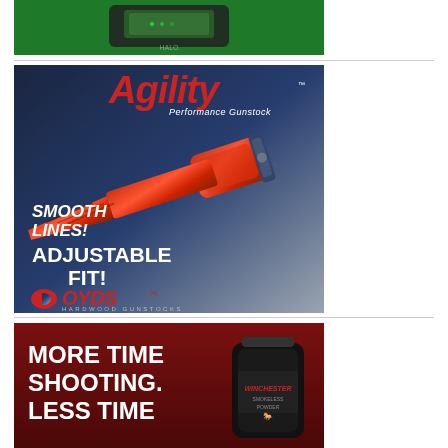[Figure (photo): Green background advertisement showing a device (range finder or similar electronics) on a green background - top portion visible]
[Figure (illustration): Boyds Hardwood Gunstocks advertisement featuring the Agility Performance Gunstock. Red/orange patterned gunstock on a blue-grey gradient background. Text: 'Agility Performance Gunstock', 'SMOOTH LINES! ADJUSTABLE FIT!', Boyds Hardwood Gunstocks logo.]
[Figure (photo): Winchester advertisement on dark red background with text 'MORE TIME SHOOTING. LESS TIME' and a black Winchester powder canister on the right.]